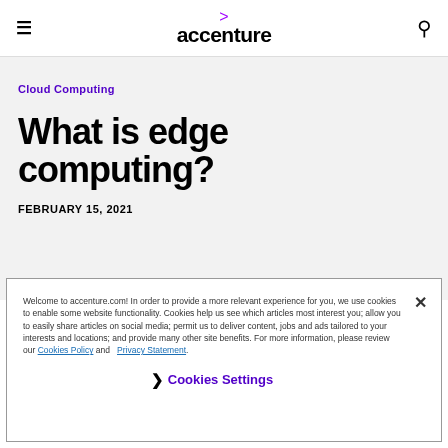accenture
Cloud Computing
What is edge computing?
FEBRUARY 15, 2021
Welcome to accenture.com! In order to provide a more relevant experience for you, we use cookies to enable some website functionality. Cookies help us see which articles most interest you; allow you to easily share articles on social media; permit us to deliver content, jobs and ads tailored to your interests and locations; and provide many other site benefits. For more information, please review our Cookies Policy and Privacy Statement.
Cookies Settings